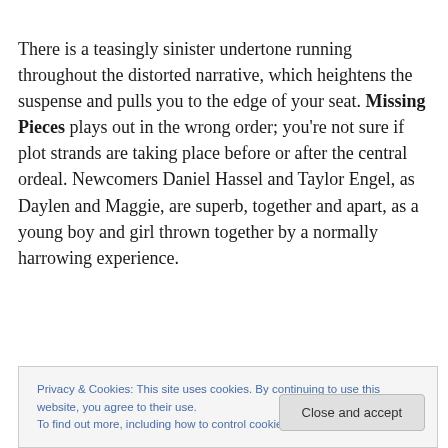There is a teasingly sinister undertone running throughout the distorted narrative, which heightens the suspense and pulls you to the edge of your seat. Missing Pieces plays out in the wrong order; you're not sure if plot strands are taking place before or after the central ordeal. Newcomers Daniel Hassel and Taylor Engel, as Daylen and Maggie, are superb, together and apart, as a young boy and girl thrown together by a normally harrowing experience.
Privacy & Cookies: This site uses cookies. By continuing to use this website, you agree to their use.
To find out more, including how to control cookies, see here: Cookie Policy